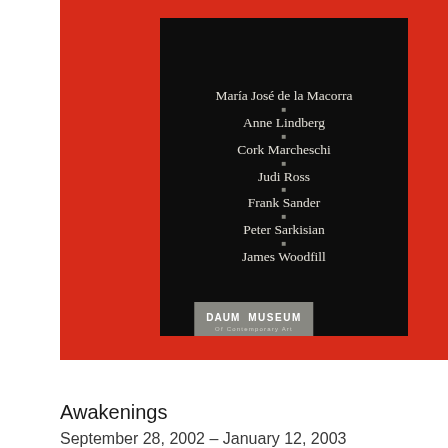[Figure (illustration): Exhibition catalog cover with red background. A black rectangular panel in the center lists artist names in white text separated by small square dots: María José de la Macorra, Anne Lindberg, Cork Marcheschi, Judi Ross, Frank Sander, Peter Sarkisian, James Woodfill. At the bottom of the red cover is a gray 'Daum Museum of Contemporary Art' logo.]
Awakenings
September 28, 2002 – January 12, 2003